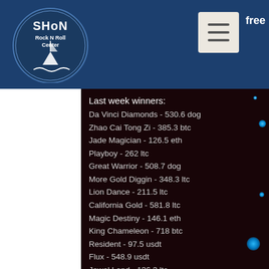free
Last week winners:
Da Vinci Diamonds - 530.6 dog
Zhao Cai Tong Zi - 385.3 btc
Jade Magician - 126.5 eth
Playboy - 262 ltc
Great Warrior - 508.7 dog
More Gold Diggin - 348.3 ltc
Lion Dance - 211.5 ltc
California Gold - 581.8 ltc
Magic Destiny - 146.1 eth
King Chameleon - 718 btc
Resident - 97.5 usdt
Flux - 548.9 usdt
Jewel Land - 136.3 ltc
Genie Wild - 509.7 usdt
Girls with Guns Frozen Dawn - 351.1 ltc